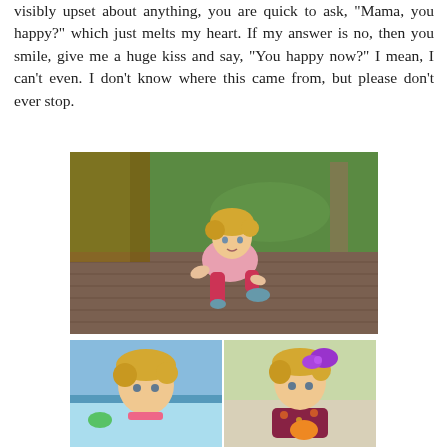visibly upset about anything, you are quick to ask, "Mama, you happy?" which just melts my heart. If my answer is no, then you smile, give me a huge kiss and say, "You happy now?" I mean, I can't even. I don't know where this came from, but please don't ever stop.
[Figure (photo): A young toddler girl with curly blonde hair wearing a pink jacket and red leggings, sitting on a wooden deck in an outdoor setting with green grass in the background.]
[Figure (photo): A young toddler girl in a bathing suit near a blue pool, with a green toy near her.]
[Figure (photo): A young toddler girl with a large purple bow in her hair, wearing a floral outfit, eating something orange outdoors.]